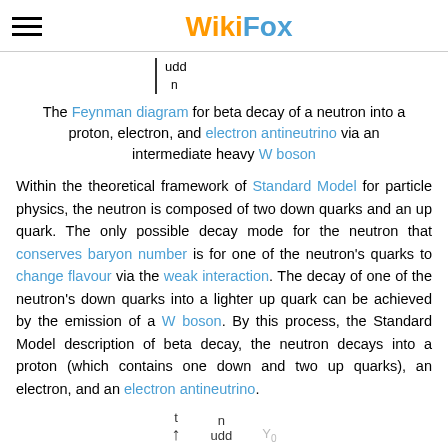WikiFox
[Figure (schematic): Partial Feynman diagram stub showing 'udd n' with a vertical bar on the left]
The Feynman diagram for beta decay of a neutron into a proton, electron, and electron antineutrino via an intermediate heavy W boson
Within the theoretical framework of Standard Model for particle physics, the neutron is composed of two down quarks and an up quark. The only possible decay mode for the neutron that conserves baryon number is for one of the neutron's quarks to change flavour via the weak interaction. The decay of one of the neutron's down quarks into a lighter up quark can be achieved by the emission of a W boson. By this process, the Standard Model description of beta decay, the neutron decays into a proton (which contains one down and two up quarks), an electron, and an electron antineutrino.
[Figure (schematic): Bottom partial Feynman diagram showing labels t, n, udd and an arrow]